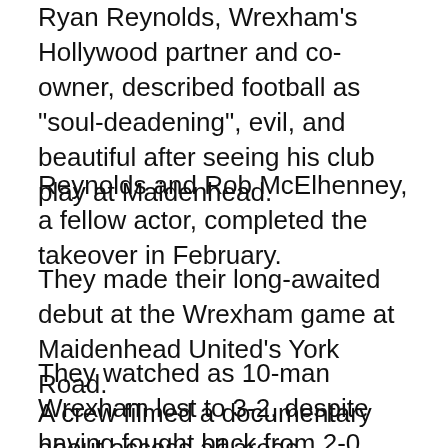Ryan Reynolds, Wrexham's Hollywood partner and co-owner, described football as “soul-deadening”, evil, and beautiful after seeing his club play at Maidenhead.
Reynolds and Rob McElhenney, a fellow actor, completed the takeover in February.
They made their long-awaited debut at the Wrexham game at Maidenhead United’s York Road.
They watched as 10-man Wrexham lost to 3-2, despite having fought back from 2-0.
A crew filmed a documentary about access-all areas, Welcome to Wrexham. The actors were